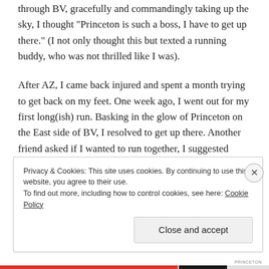through BV, gracefully and commandingly taking up the sky, I thought "Princeton is such a boss, I have to get up there." (I not only thought this but texted a running buddy, who was not thrilled like I was).
After AZ, I came back injured and spent a month trying to get back on my feet. One week ago, I went out for my first long(ish) run. Basking in the glow of Princeton on the East side of BV, I resolved to get up there. Another friend asked if I wanted to run together, I suggested Princeton, and ultimately plans fell through.
Privacy & Cookies: This site uses cookies. By continuing to use this website, you agree to their use.
To find out more, including how to control cookies, see here: Cookie Policy
Close and accept